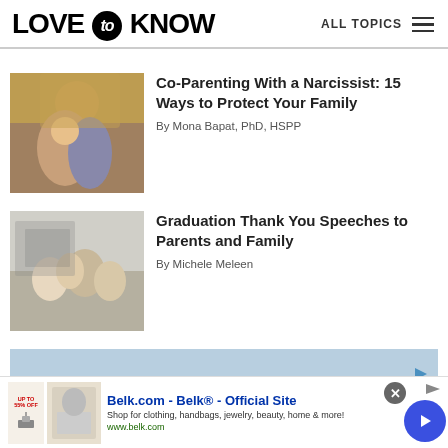LOVE to KNOW | ALL TOPICS
[Figure (photo): Woman hugging a child outdoors with autumn leaves in background]
Co-Parenting With a Narcissist: 15 Ways to Protect Your Family
By Mona Bapat, PhD, HSPP
[Figure (photo): Family group celebrating together indoors]
Graduation Thank You Speeches to Parents and Family
By Michele Meleen
[Figure (screenshot): Blue advertisement banner placeholder]
[Figure (screenshot): Belk.com advertisement - Belk Official Site - Shop for clothing, handbags, jewelry, beauty, home & more! www.belk.com]